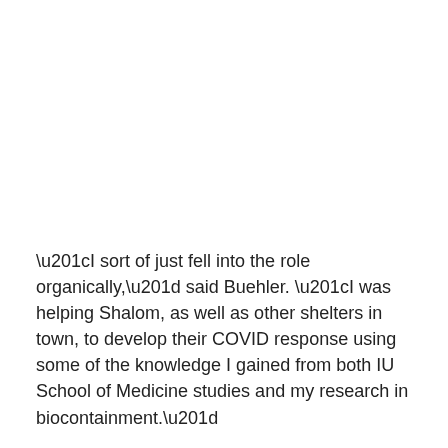“I sort of just fell into the role organically,” said Buehler. “I was helping Shalom, as well as other shelters in town, to develop their COVID response using some of the knowledge I gained from both IU School of Medicine studies and my research in biocontainment.”
At first, there was a warehouse space on the south